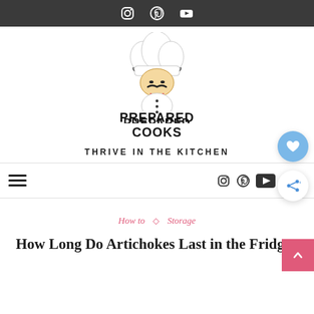Instagram Pinterest YouTube icons
[Figure (logo): Prepared Cooks logo: cartoon chef with tall white toque and mustache, bold text 'PREPARED COOKS' below]
THRIVE IN THE KITCHEN
Navigation bar with hamburger menu, Instagram, Pinterest, YouTube, 1 notification, search icons. Heart button and share button overlaid on right side.
How to ◇ Storage
How Long Do Artichokes Last in the Fridge?